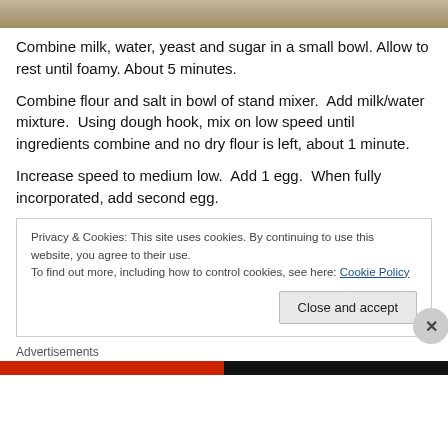[Figure (photo): Top photo strip of food/baking scene]
Combine milk, water, yeast and sugar in a small bowl. Allow to rest until foamy. About 5 minutes.
Combine flour and salt in bowl of stand mixer.  Add milk/water mixture.  Using dough hook, mix on low speed until ingredients combine and no dry flour is left, about 1 minute.
Increase speed to medium low.  Add 1 egg.  When fully incorporated, add second egg.
Privacy & Cookies: This site uses cookies. By continuing to use this website, you agree to their use.
To find out more, including how to control cookies, see here: Cookie Policy
Close and accept
Advertisements